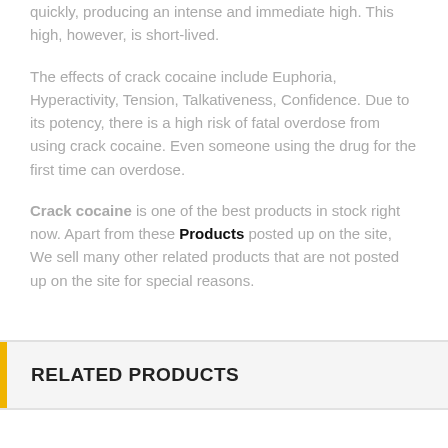quickly, producing an intense and immediate high. This high, however, is short-lived.
The effects of crack cocaine include Euphoria, Hyperactivity, Tension, Talkativeness, Confidence. Due to its potency, there is a high risk of fatal overdose from using crack cocaine. Even someone using the drug for the first time can overdose.
Crack cocaine is one of the best products in stock right now. Apart from these Products posted up on the site, We sell many other related products that are not posted up on the site for special reasons.
RELATED PRODUCTS